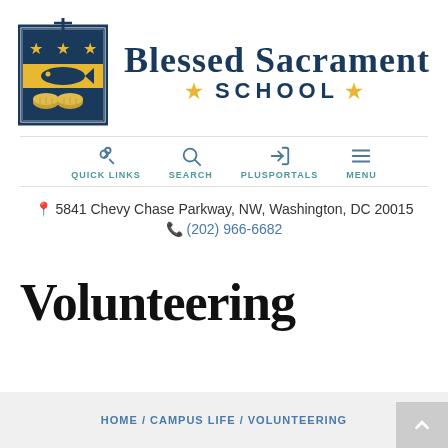[Figure (logo): Blessed Sacrament School logo: a shield with a fish, loaves, and three gold stars on a navy blue background with a cross on top, enclosed in a navy border]
Blessed Sacrament School
QUICK LINKS  SEARCH  PLUSPORTALS  MENU
5841 Chevy Chase Parkway, NW, Washington, DC 20015
(202) 966-6682
Volunteering
HOME / CAMPUS LIFE / VOLUNTEERING